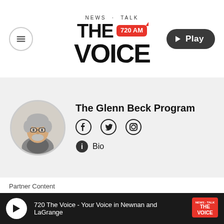[Figure (logo): NEWS TALK THE VOICE 720 AM radio station logo with red badge and menu/play buttons]
[Figure (photo): Circular headshot of Glenn Beck, older man with gray hair and glasses]
The Glenn Beck Program
[Figure (infographic): Social media icons: Facebook, Twitter, Instagram, and Bio button]
Partner Content
Bill O'Reilly: Biden's border
720 The Voice - Your Voice in Newnan and LaGrange